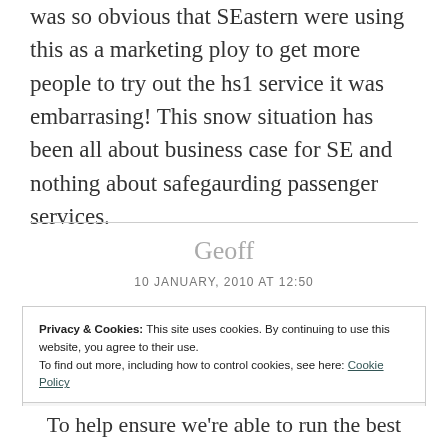was so obvious that SEastern were using this as a marketing ploy to get more people to try out the hs1 service it was embarrasing! This snow situation has been all about business case for SE and nothing about safegaurding passenger services.
Geoff
10 JANUARY, 2010 AT 12:50
Privacy & Cookies: This site uses cookies. By continuing to use this website, you agree to their use.
To find out more, including how to control cookies, see here: Cookie Policy
Close and accept
To help ensure we're able to run the best